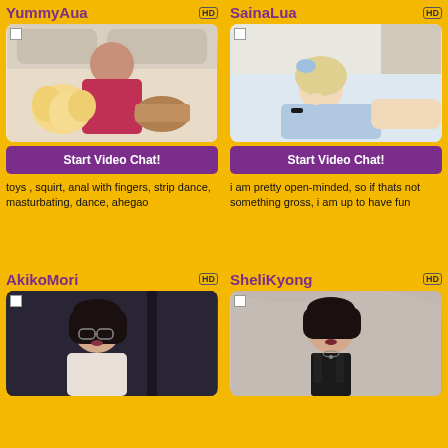YummyAua
[Figure (photo): Woman in red lingerie holding yellow roses on a bed]
Start Video Chat!
toys , squirt, anal with fingers, strip dance, masturbating, dance, ahegao
SainaLua
[Figure (photo): Blonde woman in light blue outfit lying on a bed]
Start Video Chat!
i am pretty open-minded, so if thats not something gross, i am up to have fun
AkikoMori
[Figure (photo): Woman with glasses in white top against dark background]
SheliKyong
[Figure (photo): Woman in black outfit against silver/grey fabric background]